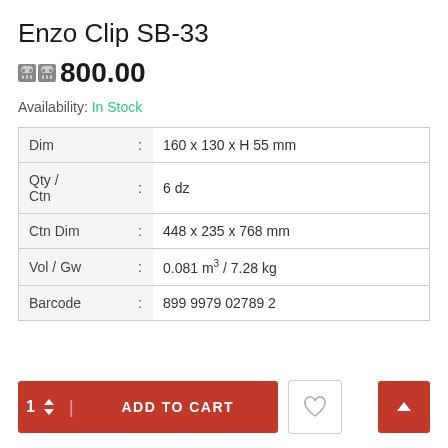Enzo Clip SB-33
800.00
Availability: In Stock
| Dim | : | 160 x 130 x H 55 mm |
| Qty / Ctn | : | 6 dz |
| Ctn Dim | : | 448 x 235 x 768 mm |
| Vol / Gw | : | 0.081 m³ / 7.28 kg |
| Barcode | : | 899 9979 02789 2 |
1  ADD TO CART